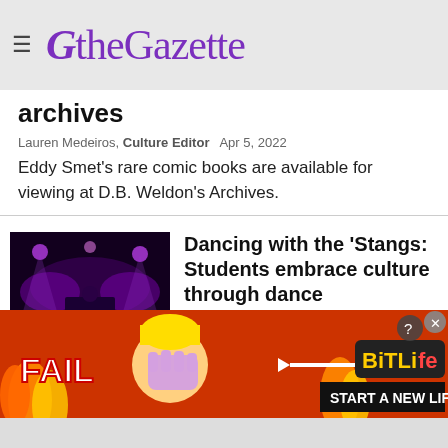the Gazette
archives
Lauren Medeiros, Culture Editor   Apr 5, 2022
Eddy Smet's rare comic books are available for viewing at D.B. Weldon's Archives.
[Figure (photo): Concert stage with purple stage lighting and DJ equipment]
Dancing with the 'Stangs: Students embrace culture through dance
Madeleine McColl, Video Intern   Apr 4, 2022
[Figure (other): BitLife advertisement banner with FAIL text, cartoon character, and START A NEW LIFE tagline]